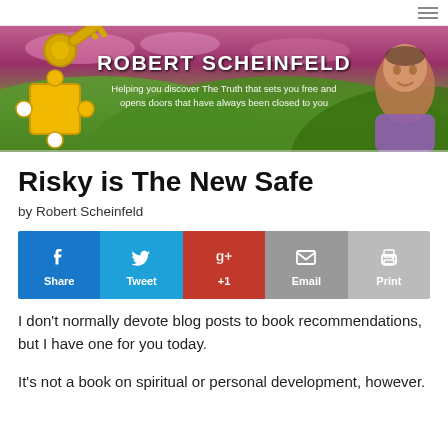[Figure (illustration): Robert Scheinfeld website banner with purple/pink sky background, green hills, golden key with puzzle piece, man in purple shirt. Text reads: ROBERT SCHEINFELD - Helping you discover The Truth that sets you free and opens doors that have always been closed to you]
Risky is The New Safe
by Robert Scheinfeld
[Figure (infographic): Social sharing buttons row: Share (Facebook, blue), Tweet (Twitter, cyan), +1 (Google+, red), Email (grey), Print (grey)]
I don't normally devote blog posts to book recommendations, but I have one for you today.

It's not a book on spiritual or personal development, however.